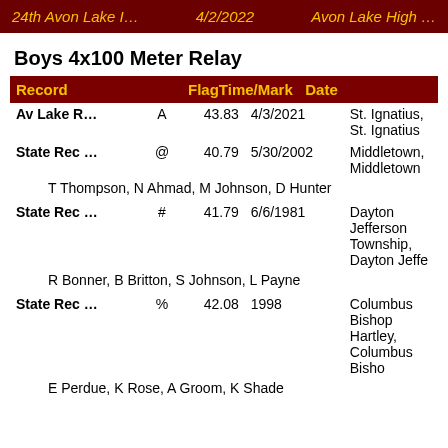24th Avon Lake I…   4/2/2022   Avon Lake High …
Boys 4x100 Meter Relay
| Record |  | FlagTime/Mark | Date |  |
| --- | --- | --- | --- | --- |
| Av Lake R… | A | 43.83 | 4/3/2021 | St. Ignatius, St. Ignatius |
| State Rec … | @ | 40.79 | 5/30/2002 | Middletown, Middletown |
| T Thompson, N Ahmad, M Johnson, D Hunter |  |  |  |  |
| State Rec … | # | 41.79 | 6/6/1981 | Dayton Jefferson Township, Dayton Jeffe |
| R Bonner, B Britton, S Johnson, L Payne |  |  |  |  |
| State Rec … | % | 42.08 | 1998 | Columbus Bishop Hartley, Columbus Bisho |
| E Perdue, K Rose, A Groom, K Shade |  |  |  |  |